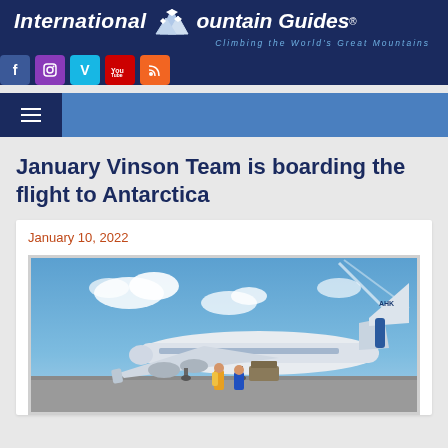International Mountain Guides® — Climbing the World's Great Mountains
January Vinson Team is boarding the flight to Antarctica
January 10, 2022
[Figure (photo): Airplane on tarmac under blue sky with clouds; two people in colorful jackets standing near the aircraft, about to board for flight to Antarctica]